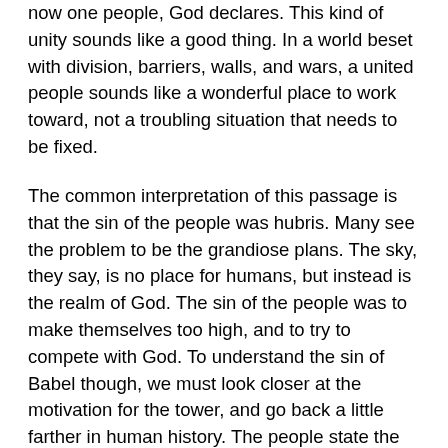now one people,  God declares.  This kind of unity sounds like a good thing.  In a world beset with division, barriers, walls, and wars, a united people sounds like a wonderful place to work toward, not a troubling situation that needs to be fixed.
The common interpretation of this passage is that the sin of the people was hubris.  Many see the problem to be the grandiose plans. The sky, they say, is no place for humans, but instead is the realm of God. The sin of the people was to make themselves too high, and to try to compete with God.  To understand the sin of Babel though, we must look closer at the motivation for the tower, and go back a little farther in human history.  The people state the mission of the tower is to “make a name for ourselves, so that we will not be dispersed all over the earth.”
The Tower would be a source of pride, but to the A...